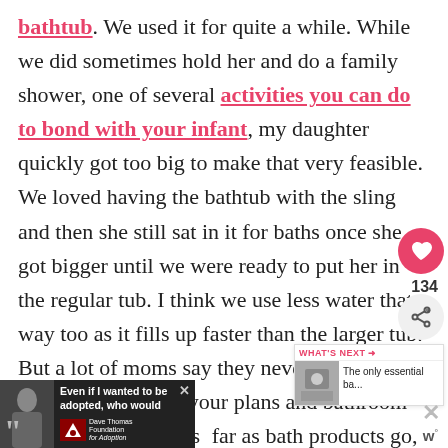bathtub. We used it for quite a while. While we did sometimes hold her and do a family shower, one of several activities you can do to bond with your infant, my daughter quickly got too big to make that very feasible. We loved having the bathtub with the sling and then she still sat in it for baths once she got bigger until we were ready to put her in the regular tub. I think we use less water that way too as it fills up faster than the larger tub. But a lot of moms say they never used there so definitely consider your plans and bathroom setup before purchas[t]... far as bath products go, check out this list of non-
[Figure (infographic): Social action bar with heart/like button (pink circle, heart icon), like count 134, and share button (grey circle, share icon)]
[Figure (infographic): What's Next widget with pink header text 'WHAT'S NEXT →', thumbnail image, and text 'The only essential ba...']
[Figure (infographic): Ad banner: black background with woman photo, quote mark, text 'Even if I wanted to be adopted, who would', Dave Thomas Foundation for Adoption logo, and close X button]